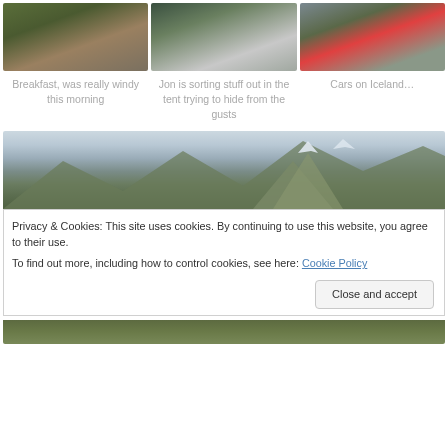[Figure (photo): Photo of camping breakfast setup with a black canister and food items on grass, windy conditions]
Breakfast, was really windy this morning
[Figure (photo): Person in green jacket sorting stuff inside a tent with white fabric billowing]
Jon is sorting stuff out in the tent trying to hide from the gusts
[Figure (photo): Red car on a dirt road in Iceland with snow-capped green hills in background]
Cars on Iceland…
[Figure (photo): Panoramic landscape photo of Icelandic mountains with snow patches and overcast sky]
Privacy & Cookies: This site uses cookies. By continuing to use this website, you agree to their use.
To find out more, including how to control cookies, see here: Cookie Policy
[Figure (photo): Bottom portion of a landscape photo showing green and brown Icelandic terrain]